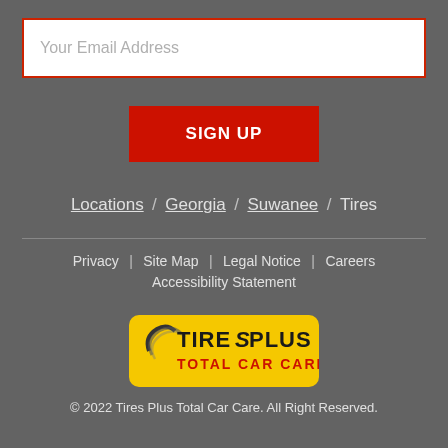Your Email Address
SIGN UP
Locations / Georgia / Suwanee / Tires
Privacy | Site Map | Legal Notice | Careers Accessibility Statement
[Figure (logo): Tires Plus Total Car Care logo — yellow rounded rectangle with a tire graphic, 'TIRES PLUS' in black and 'TOTAL CAR CARE' in red below]
© 2022 Tires Plus Total Car Care. All Right Reserved.